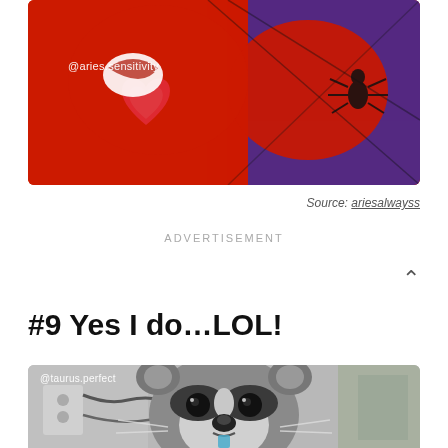[Figure (photo): Animated/cartoon image of Spider-Man in red and blue, with a pink heart, watermarked @aries.sensitivity]
Source: ariesalwayss
ADVERTISEMENT
#9 Yes I do…LOL!
[Figure (photo): Photo of a raccoon looking at the camera, watermarked @taurus.perfect]